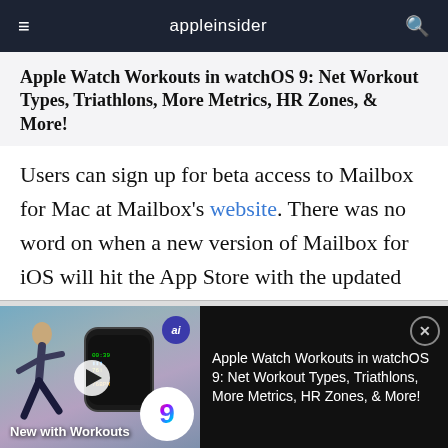appleinsider
Apple Watch Workouts in watchOS 9: Net Workout Types, Triathlons, More Metrics, HR Zones, & More!
Users can sign up for beta access to Mailbox for Mac at Mailbox's website. There was no word on when a new version of Mailbox for iOS will hit the App Store with the updated auto swipe functionality.
[Figure (screenshot): Bottom ad banner showing a runner with Apple Watch, watchOS 9 logo, and text 'Apple Watch Workouts in watchOS 9: Net Workout Types, Triathlons, More Metrics, HR Zones, & More!' with 'New with Workouts' label at bottom left.]